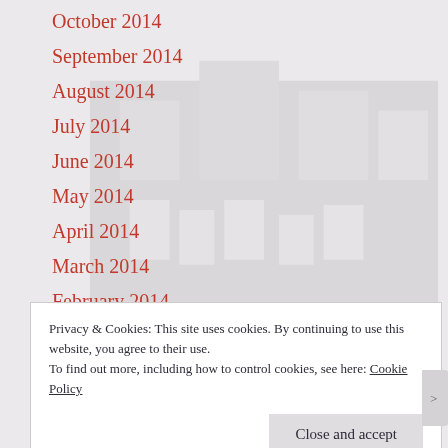October 2014
September 2014
August 2014
July 2014
June 2014
May 2014
April 2014
March 2014
February 2014
January 2014
December 2013
Privacy & Cookies: This site uses cookies. By continuing to use this website, you agree to their use.
To find out more, including how to control cookies, see here: Cookie Policy
Close and accept